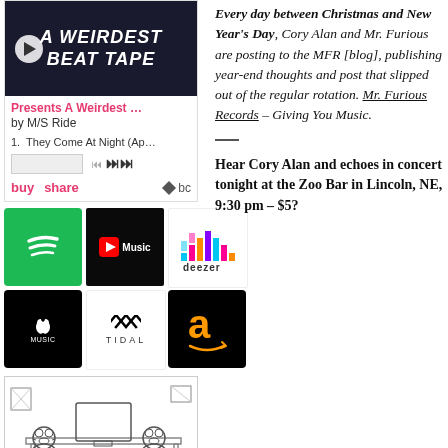[Figure (screenshot): Bandcamp embed player for 'Presents A Weirdest Beat Tape' by M/S Ride, showing album art with play button, track listing, controls, and buy/share links]
[Figure (infographic): Grid of streaming service logos: Spotify, YouTube Music, Deezer, Apple Music, TIDAL, Amazon Music]
[Figure (illustration): Black and white comic-style illustration of cartoon bears at a computer workstation]
Every day between Christmas and New Year's Day, Cory Alan and Mr. Furious are posting to the MFR [blog], publishing year-end thoughts and post that slipped out of the regular rotation. Mr. Furious Records – Giving You Music.
Hear Cory Alan and echoes in concert tonight at the Zoo Bar in Lincoln, NE, 9:30 pm – $5?